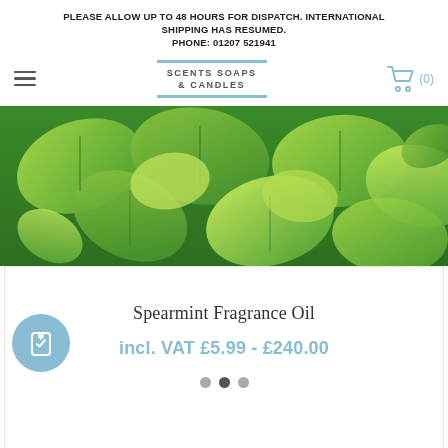PLEASE ALLOW UP TO 48 HOURS FOR DISPATCH. INTERNATIONAL SHIPPING HAS RESUMED.
PHONE: 01207 521941
[Figure (logo): Scents Soaps & Candles logo with blue border lines top and bottom]
[Figure (photo): Close-up photo of fresh green spearmint leaves]
Spearmint Fragrance Oil
incl. VAT £5.99 - £240.00